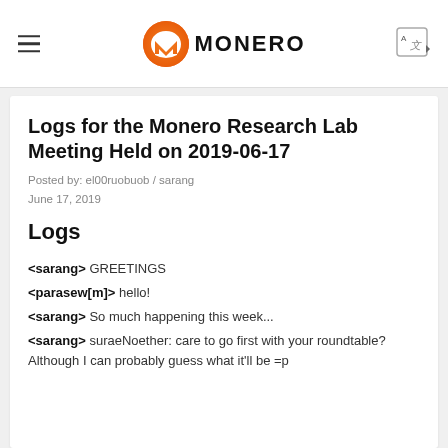MONERO
Logs for the Monero Research Lab Meeting Held on 2019-06-17
Posted by: el00ruobuob / sarang
June 17, 2019
Logs
<sarang> GREETINGS
<parasew[m]> hello!
<sarang> So much happening this week...
<sarang> suraeNoether: care to go first with your roundtable? Although I can probably guess what it'll be =p